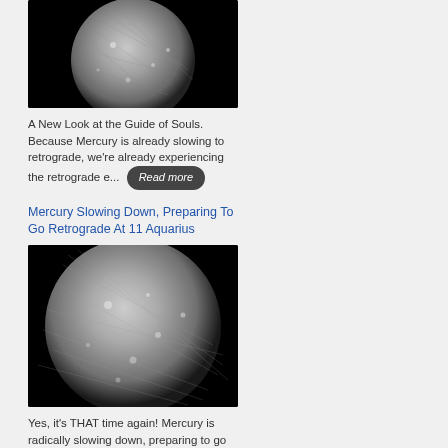[Figure (photo): Grayscale photograph of Mercury planet against black background]
A New Look at the Guide of Souls. Because Mercury is already slowing to retrograde, we're already experiencing the retrograde e...
Read more
Mercury Slowing Down, Preparing To Go Retrograde At 11 Aquarius
[Figure (photo): Grayscale photograph of Mercury planet against black background]
Yes, it's THAT time again! Mercury is radically slowing down, preparing to go stationary retrograde at 11 Aquarius on...